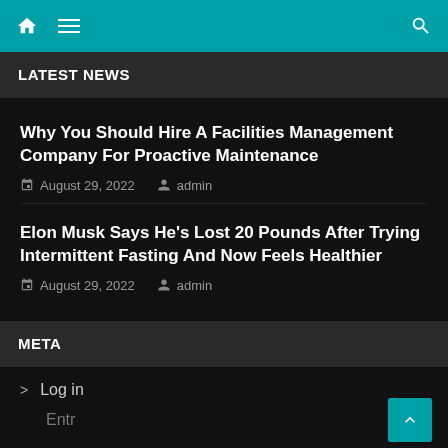Navigation bar with home icon, hamburger menu, and search icon
LATEST NEWS
Why You Should Hire A Facilities Management Company For Proactive Maintenance
August 29, 2022   admin
Elon Musk Says He's Lost 20 Pounds After Trying Intermittent Fasting And Now Feels Healthier
August 29, 2022   admin
META
Log in